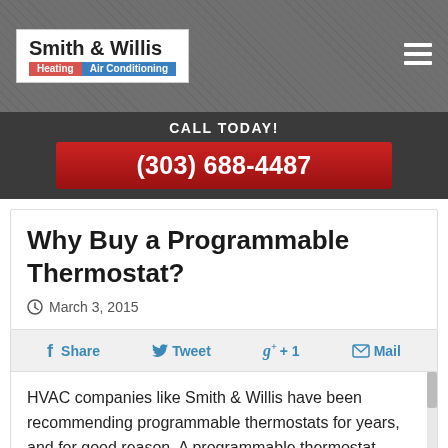Smith & Willis — Heating | Air Conditioning
CALL TODAY! (303) 688-4487
Why Buy a Programmable Thermostat?
March 3, 2015
f Share   Tweet   g+ +1   Mail
HVAC companies like Smith & Willis have been recommending programmable thermostats for years, and for good reason. A programmable thermostat may seem like a simple and insignificant addition to your home, but it can make a big difference when it comes to keeping your